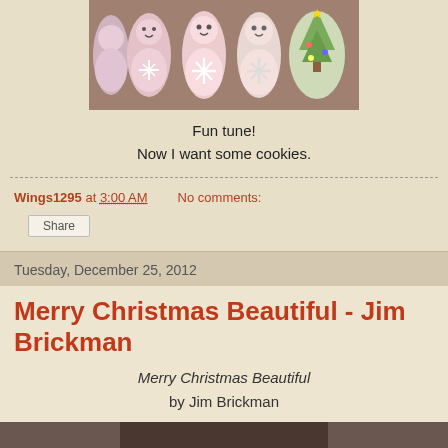[Figure (photo): Christmas cookies shaped like snowmen and snowflakes, decorated in pink, white, and green icing, arranged in a row]
Fun tune!
Now I want some cookies.
Wings1295 at 3:00 AM   No comments:
Share
Tuesday, December 25, 2012
Merry Christmas Beautiful - Jim Brickman
Merry Christmas Beautiful
by Jim Brickman
[Figure (photo): Partial view of another image at the bottom of the page, dark tones]